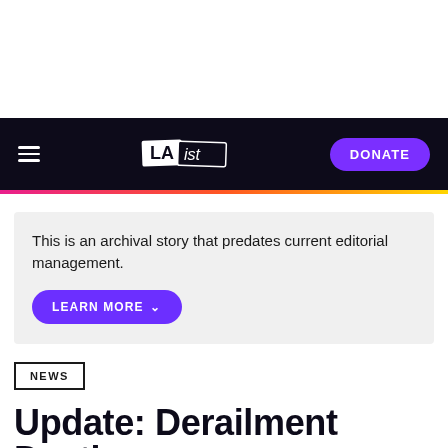LAist — DONATE
This is an archival story that predates current editorial management.
LEARN MORE
NEWS
Update: Derailment Deaths